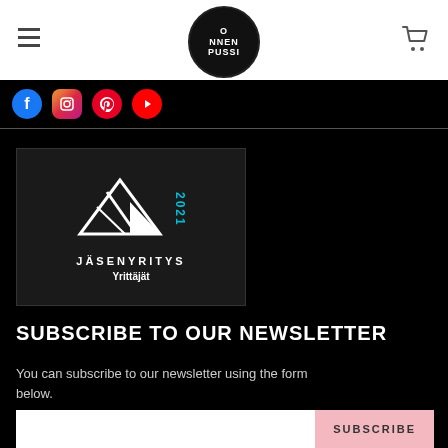Onnen Pussi — site header with hamburger menu, logo, and cart icon
[Figure (logo): Onnen Pussi circular logo with white text on black background]
[Figure (infographic): Social media icons: Facebook, Instagram, Pinterest, YouTube]
[Figure (logo): Jäsenyritys 2021 Yrittäjät badge — dark background with white triangle/chevron logo and cyan year text]
SUBSCRIBE TO OUR NEWSLETTER
You can subscribe to our newsletter using the form below.
SUBSCRIBE